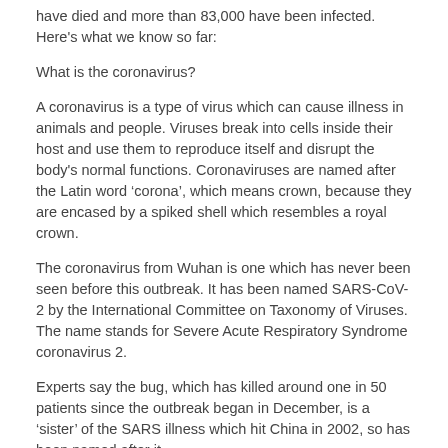have died and more than 83,000 have been infected. Here's what we know so far:
What is the coronavirus?
A coronavirus is a type of virus which can cause illness in animals and people. Viruses break into cells inside their host and use them to reproduce itself and disrupt the body's normal functions. Coronaviruses are named after the Latin word 'corona', which means crown, because they are encased by a spiked shell which resembles a royal crown.
The coronavirus from Wuhan is one which has never been seen before this outbreak. It has been named SARS-CoV-2 by the International Committee on Taxonomy of Viruses. The name stands for Severe Acute Respiratory Syndrome coronavirus 2.
Experts say the bug, which has killed around one in 50 patients since the outbreak began in December, is a ‘sister’ of the SARS illness which hit China in 2002, so has been named after it.